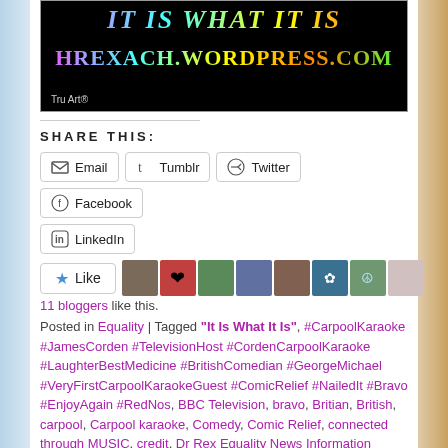[Figure (photo): Black background banner with colorful rainbow-gradient text showing a WordPress URL: hrexach.wordpress.com, with 'Tru Art®' credit at bottom left]
SHARE THIS:
Email | Tumblr | Twitter | Facebook | LinkedIn (share buttons)
Like button with 11 bloggers avatar row
11 bloggers like this.
Posted in Equality | Tagged "It Is What It Is", #CarpoolKaraoke #JamesCorden #TelevisionHost #CordenCarpoolKaraoke #LaughterBestMedicine #BritishComedian #GeorgeMichael #VeryFirstCarpoolKaraokeGuest #ComicRelief #NailedIt #Bravo #EnjoyAgain #RedNos, BBC Television, bravo, Britian, British, carpool, Carpool karaoke, Comedy, Comic Relief, connected through MUSIC, credit, Dr Rex Equality News Information Education, England, first carpool karakoe, first ever, first musical guest, full credit, full read,